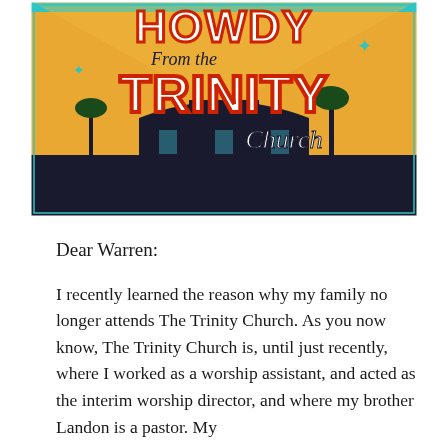[Figure (illustration): Colorful mural-style illustration reading 'HOWDY From the TRINITY Church' in bold retro lettering with orange, red, teal, and blue colors, featuring a silhouetted church building and palm trees.]
Dear Warren:
I recently learned the reason why my family no longer attends The Trinity Church. As you now know, The Trinity Church is, until just recently, where I worked as a worship assistant, and acted as the interim worship director, and where my brother Landon is a pastor. My